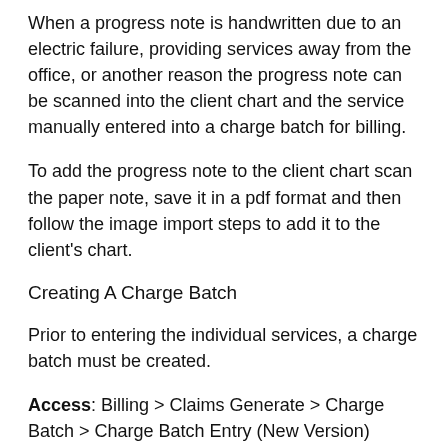When a progress note is handwritten due to an electric failure, providing services away from the office, or another reason the progress note can be scanned into the client chart and the service manually entered into a charge batch for billing.
To add the progress note to the client chart scan the paper note, save it in a pdf format and then follow the image import steps to add it to the client's chart.
Creating A Charge Batch
Prior to entering the individual services, a charge batch must be created.
Access: Billing > Claims Generate > Charge Batch > Charge Batch Entry (New Version)
1. Click Add Batch.